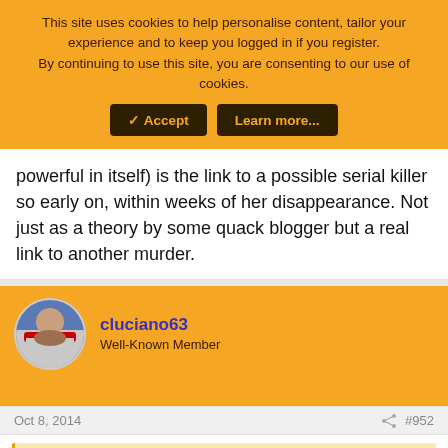This site uses cookies to help personalise content, tailor your experience and to keep you logged in if you register.
By continuing to use this site, you are consenting to our use of cookies.
✓ Accept | Learn more...
powerful in itself) is the link to a possible serial killer so early on, within weeks of her disappearance. Not just as a theory by some quack blogger but a real link to another murder.
cluciano63
Well-Known Member
Oct 8, 2014    #952
Emaa said: ↑